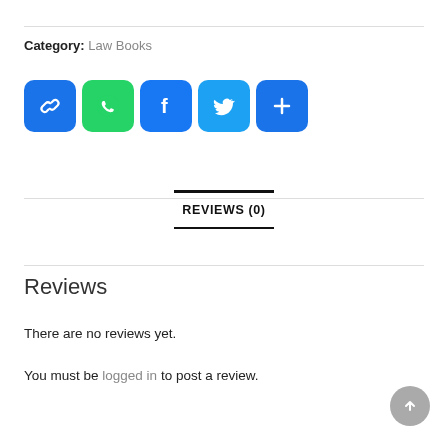Category: Law Books
[Figure (infographic): Row of five social sharing icon buttons: link (blue), WhatsApp (green), Facebook (blue), Twitter (light blue), More/plus (blue)]
REVIEWS (0)
Reviews
There are no reviews yet.
You must be logged in to post a review.